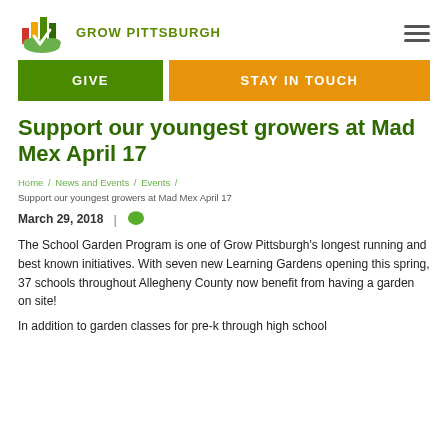[Figure (logo): Grow Pittsburgh logo with colorful building/plant icon and green text]
GIVE
STAY IN TOUCH
Support our youngest growers at Mad Mex April 17
Home / News and Events / Events / Support our youngest growers at Mad Mex April 17
March 29, 2018  |
The School Garden Program is one of Grow Pittsburgh's longest running and best known initiatives. With seven new Learning Gardens opening this spring, 37 schools throughout Allegheny County now benefit from having a garden on site!
In addition to garden classes for pre-k through high school